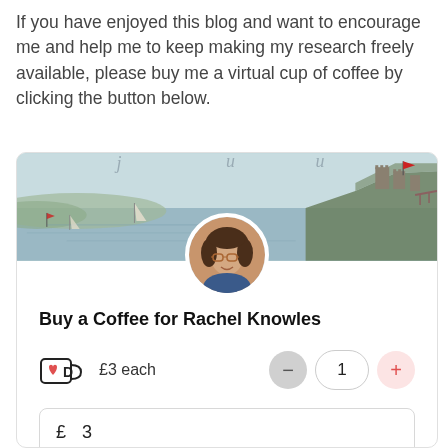If you have enjoyed this blog and want to encourage me and help me to keep making my research freely available, please buy me a virtual cup of coffee by clicking the button below.
[Figure (screenshot): A 'Buy Me a Coffee' widget for Rachel Knowles. Shows a banner with a watercolor landscape (castle, sea, sailboats), a circular profile photo of a woman with glasses, bold text 'Buy a Coffee for Rachel Knowles', a coffee cup icon with a red heart and '£3 each', quantity counter showing 1, an amount field showing '£ 3', and a 'Your name or nickname' placeholder input.]